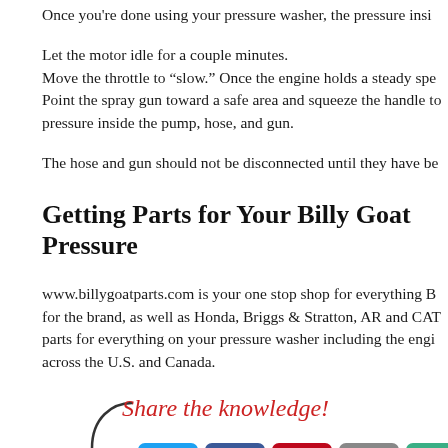Once you're done using your pressure washer, the pressure insi...
Let the motor idle for a couple minutes.
Move the throttle to “slow.” Once the engine holds a steady spe...
Point the spray gun toward a safe area and squeeze the handle to... pressure inside the pump, hose, and gun.
The hose and gun should not be disconnected until they have be...
Getting Parts for Your Billy Goat Pressure...
www.billygoatparts.com is your one stop shop for everything B... for the brand, as well as Honda, Briggs & Stratton, AR and CAT... parts for everything on your pressure washer including the engi... across the U.S. and Canada.
[Figure (infographic): Share the knowledge! text in red italic script with a curled arrow, followed by social media share buttons for Twitter, Facebook, Pinterest, Email, and More.]